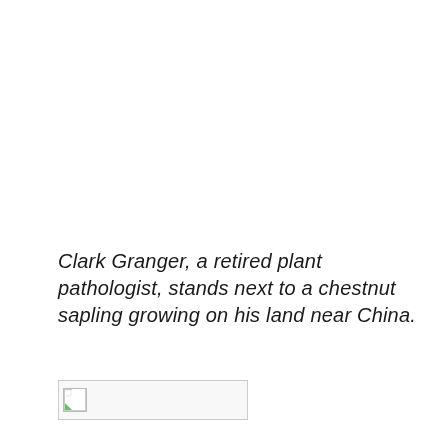Clark Granger, a retired plant pathologist, stands next to a chestnut sapling growing on his land near China.
[Figure (photo): Broken/missing image placeholder showing a small image icon with a green corner, inside a rectangular bordered box.]